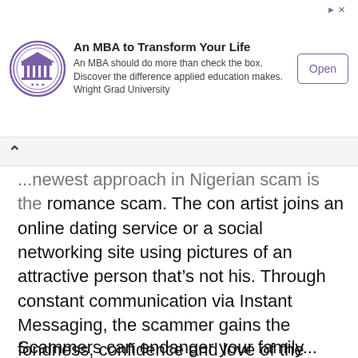[Figure (screenshot): Advertisement banner for Wright Grad University MBA program. Shows a circular purple university seal logo on the left, bold title 'An MBA to Transform Your Life', body text 'An MBA should do more than check the box. Discover the difference applied education makes. Wright Grad University', and an 'Open' button with purple border on the right. A purple arrow/Ad indicator is in the top right corner.]
...newest approach in Nigerian scam is the romance scam. The con artist joins an online dating service or a social networking site using pictures of an attractive person that's not his. Through constant communication via Instant Messaging, the scammer gains the fondness, confidence and love of the other person. He or she may claim interest in meeting or in building serious relationship. Some con artist would inform the other of a business venture somewhere in Nigeria or in United Kingdom and then will ask for cash to book a plane, hotel room or other expenses.
Scammers can endanger your family...